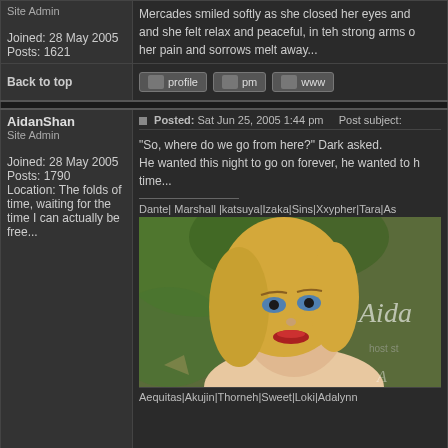Site Admin
Joined: 28 May 2005
Posts: 1621
Mercades smiled softly as she closed her eyes and and she felt relax and peaceful, in teh strong arms o her pain and sorrows melt away...
Back to top
profile  pm  www
AidanShan
Site Admin
Joined: 28 May 2005
Posts: 1790
Location: The folds of time, waiting for the time I can actually be free...
Posted: Sat Jun 25, 2005 1:44 pm    Post subject:
"So, where do we go from here?" Dark asked. He wanted this night to go on forever, he wanted to hold on to this time...
Dante| Marshall |katsuya|Izaka|Sins|Xxypher|Tara|As
[Figure (photo): Blonde woman with blue eyes, red lips, avatar image with partial text 'Aida' visible on right side]
Aequitas|Akujin|Thorneh|Sweet|Loki|Adalynn